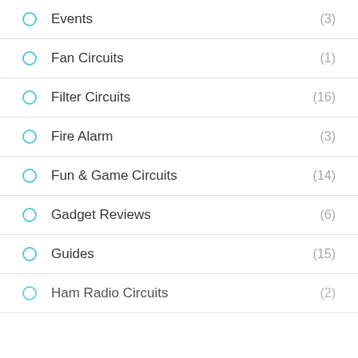Events (3)
Fan Circuits (1)
Filter Circuits (16)
Fire Alarm (3)
Fun & Game Circuits (14)
Gadget Reviews (6)
Guides (15)
Ham Radio Circuits (2)